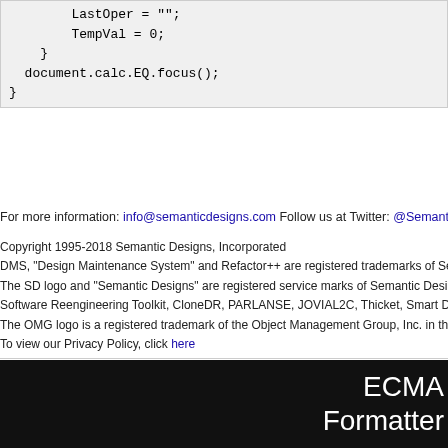LastOper = "";
        TempVal = 0;
    }
    document.calc.EQ.focus();
}
For more information: info@semanticdesigns.com    Follow us at Twitter: @SemanticDesign
Copyright 1995-2018 Semantic Designs, Incorporated
DMS, "Design Maintenance System" and Refactor++ are registered trademarks of Semantic D
The SD logo and "Semantic Designs" are registered service marks of Semantic Designs, Inc.
Software Reengineering Toolkit, CloneDR, PARLANSE, JOVIAL2C, Thicket, Smart Differe
The OMG logo is a registered trademark of the Object Management Group, Inc. in the Unite
To view our Privacy Policy, click here

Comments or problems: webmaster@semanticdesigns.com
ECMA
Formatter